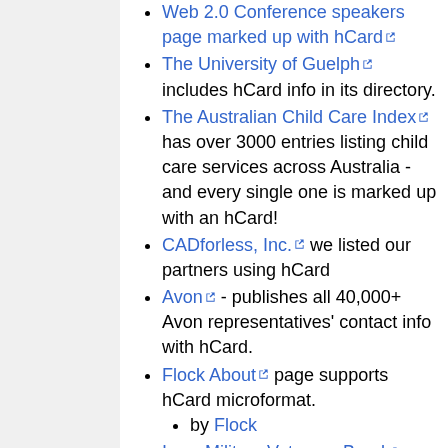Web 2.0 Conference speakers page marked up with hCard
The University of Guelph includes hCard info in its directory.
The Australian Child Care Index has over 3000 entries listing child care services across Australia - and every single one is marked up with an hCard!
CADforless, Inc. we listed our partners using hCard
Avon - publishes all 40,000+ Avon representatives' contact info with hCard.
Flock About page supports hCard microformat.
by Flock
Iowa Military Veterans Band
Nature homepage, uses XOXO